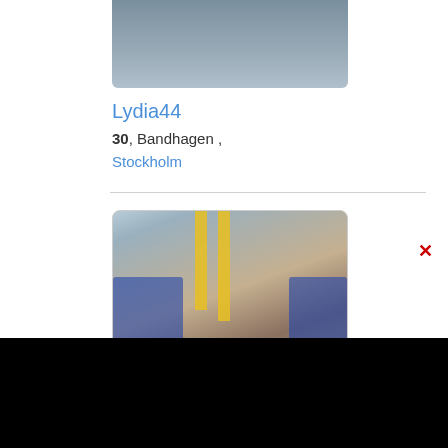[Figure (photo): Partial photo of a person in a gray shirt, cropped at the top of the page]
Lydia44
30, Bandhagen, Stockholm
[Figure (photo): Woman sitting on a bus with yellow poles, wearing earphones, dark hair in updo, looking to the side]